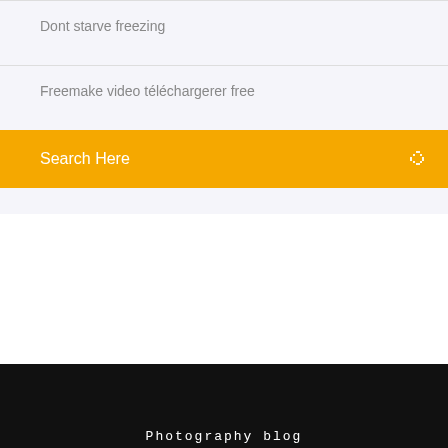Dont starve freezing
Freemake video téléchargerer free
Search Here
Photography blog